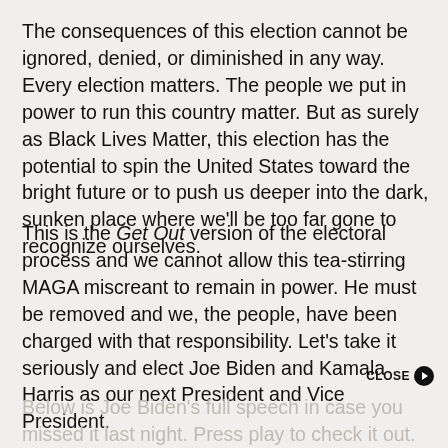The consequences of this election cannot be ignored, denied, or diminished in any way. Every election matters. The people we put in power to run this country matter. But as surely as Black Lives Matter, this election has the potential to spin the United States toward the bright future or to push us deeper into the dark, sunken place where we'll be too far gone to recognize ourselves.
This is the Get Out version of the electoral process and we cannot allow this tea-stirring MAGA miscreant to remain in power. He must be removed and we, the people, have been charged with that responsibility. Let's take it seriously and elect Joe Biden and Kamala Harris as our next President and Vice President.
Below is Joe Biden's full speech in case you missed it last night. Press play to check it out.